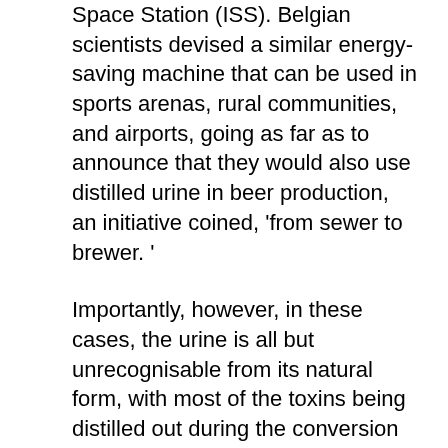Space Station (ISS). Belgian scientists devised a similar energy-saving machine that can be used in sports arenas, rural communities, and airports, going as far as to announce that they would also use distilled urine in beer production, an initiative coined, 'from sewer to brewer. '
Importantly, however, in these cases, the urine is all but unrecognisable from its natural form, with most of the toxins being distilled out during the conversion process.
In terms of pure urine consumption, people in Nigeria often use cow urine to treat illnesses and in India, the AAYUSH Ministry recently revealed that it was seriously working on the use of cow urine as a